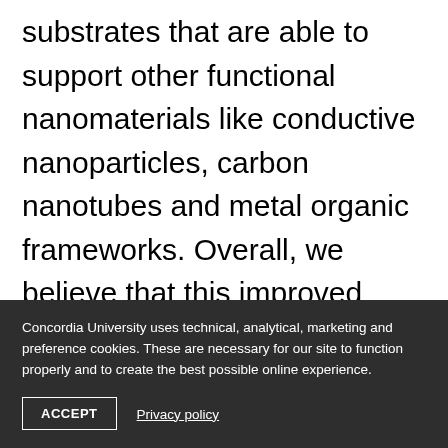substrates that are able to support other functional nanomaterials like conductive nanoparticles, carbon nanotubes and metal organic frameworks. Overall, we believe that this improved understanding can bridge the gap between scientific research and the commercialization of greener next-generation technologies.
Concordia University uses technical, analytical, marketing and preference cookies. These are necessary for our site to function properly and to create the best possible online experience.
ACCEPT
Privacy policy